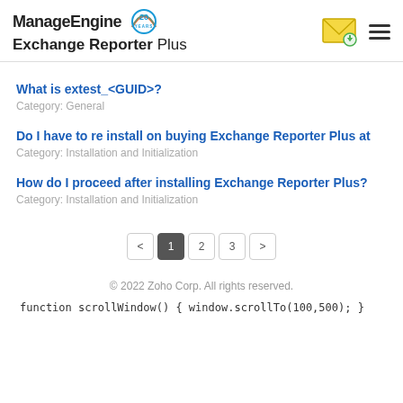ManageEngine Exchange Reporter Plus
What is extest_<GUID>?
Category: General
Do I have to re install on buying Exchange Reporter Plus at...
Category: Installation and Initialization
How do I proceed after installing Exchange Reporter Plus?
Category: Installation and Initialization
Pagination: < 1 2 3 >
© 2022 Zoho Corp. All rights reserved.
function scrollWindow() { window.scrollTo(100,500); }